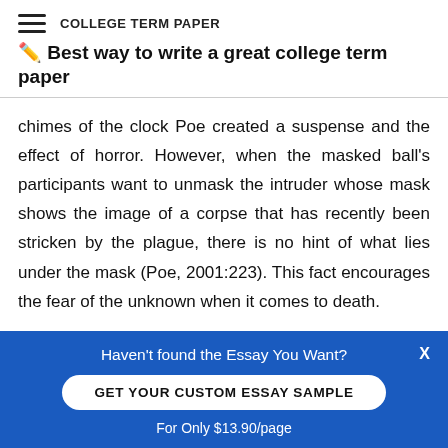COLLEGE TERM PAPER
✏️ Best way to write a great college term paper
chimes of the clock Poe created a suspense and the effect of horror. However, when the masked ball's participants want to unmask the intruder whose mask shows the image of a corpse that has recently been stricken by the plague, there is no hint of what lies under the mask (Poe, 2001:223). This fact encourages the fear of the unknown when it comes to death.
This f...
Haven't found the Essay You Want?
GET YOUR CUSTOM ESSAY SAMPLE
For Only $13.90/page